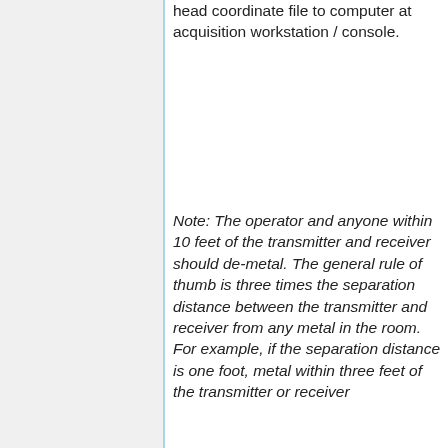head coordinate file to computer at acquisition workstation / console.
Note: The operator and anyone within 10 feet of the transmitter and receiver should de-metal. The general rule of thumb is three times the separation distance between the transmitter and receiver from any metal in the room. For example, if the separation distance is one foot, metal within three feet of the transmitter or receiver